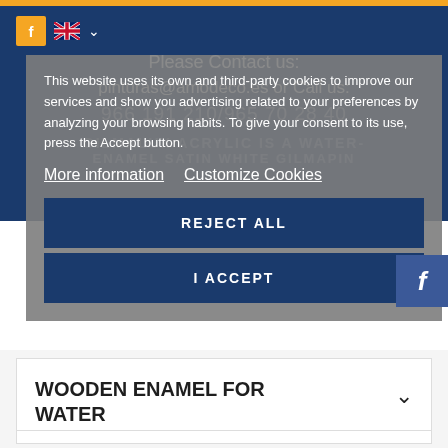Please Contact us:
pinturas@amodeco.es or Call us:
966 191 210/965 70 28 40
This website uses its own and third-party cookies to improve our services and show you advertising related to your preferences by analyzing your browsing habits. To give your consent to its use, press the Accept button.
More information   Customize Cookies
REJECT ALL
I ACCEPT
GILMALUX ACRYLIC IS A WATER-ENAMEL SATIN WHITE GILMAPIN
WOODEN ENAMEL FOR WATER